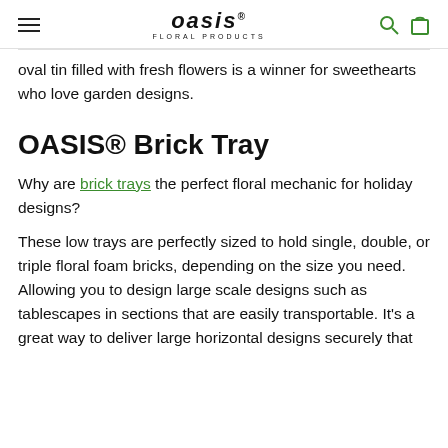OASIS FLORAL PRODUCTS
oval tin filled with fresh flowers is a winner for sweethearts who love garden designs.
OASIS® Brick Tray
Why are brick trays the perfect floral mechanic for holiday designs?
These low trays are perfectly sized to hold single, double, or triple floral foam bricks, depending on the size you need. Allowing you to design large scale designs such as tablescapes in sections that are easily transportable. It's a great way to deliver large horizontal designs securely that